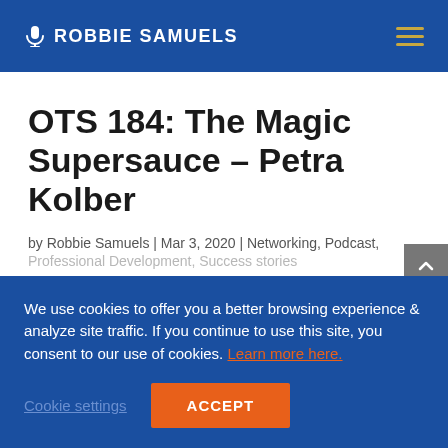ROBBIE SAMUELS
OTS 184: The Magic Supersauce – Petra Kolber
by Robbie Samuels | Mar 3, 2020 | Networking, Podcast,
We use cookies to offer you a better browsing experience & analyze site traffic. If you continue to use this site, you consent to our use of cookies. Learn more here.
Cookie settings    ACCEPT